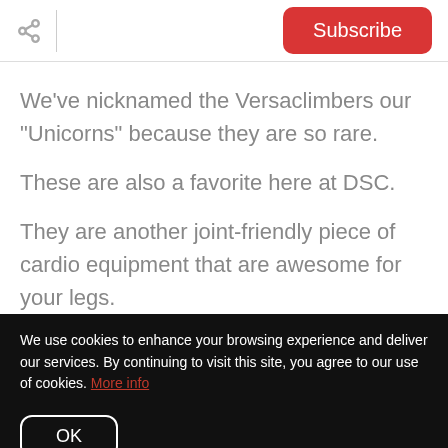Share | Subscribe
We've nicknamed the Versaclimbers our "Unicorns" because they are so rare.
These are also a favorite here at DSC.
They are another joint-friendly piece of cardio equipment that are awesome for your legs.
We use cookies to enhance your browsing experience and deliver our services. By continuing to visit this site, you agree to our use of cookies. More info
OK